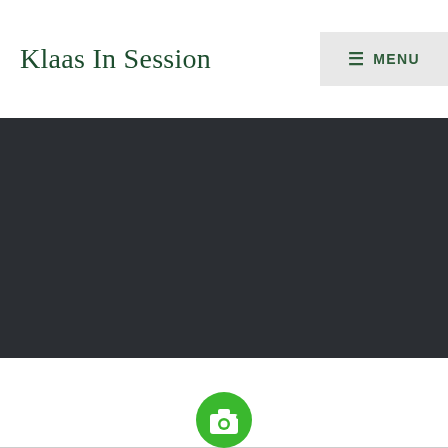Klaas In Session
[Figure (screenshot): Dark hero banner area — a large dark gray/charcoal rectangle filling the width below the header, representing a website hero image placeholder or background]
[Figure (illustration): Green camera icon circle partially visible at the bottom of the page, centered, with a horizontal divider line]